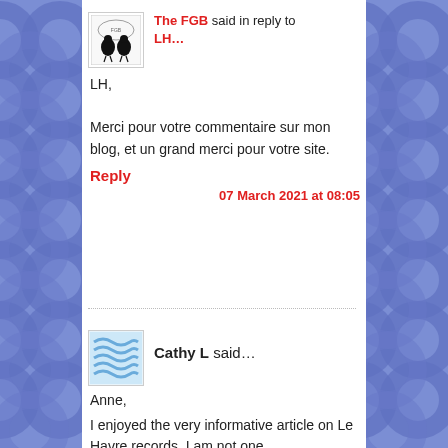The FGB said in reply to LH…
LH,
Merci pour votre commentaire sur mon blog, et un grand merci pour votre site.
Reply
07 March 2021 at 08:05
Cathy L said…
Anne,
I enjoyed the very informative article on Le Havre records. I am not one…